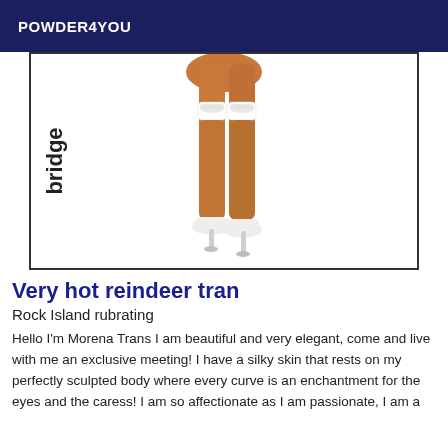POWDER4YOU
[Figure (photo): Photo of legs wearing white lace stockings and white high heel shoes, with rotated text 'bridge' on the left side]
Very hot reindeer tran
Rock Island rubrating
Hello I'm Morena Trans I am beautiful and very elegant, come and live with me an exclusive meeting! I have a silky skin that rests on my perfectly sculpted body where every curve is an enchantment for the eyes and the caress! I am so affectionate as I am passionate, I am a